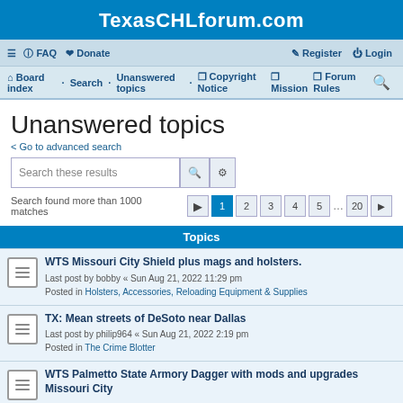TexasCHLforum.com
≡  FAQ  ♥ Donate    Register  Login
Board index · Search · Unanswered topics · Copyright Notice · Mission · Forum Rules
Unanswered topics
< Go to advanced search
Search these results
Search found more than 1000 matches  1 2 3 4 5 ... 20
Topics
WTS Missouri City Shield plus mags and holsters.
Last post by bobby « Sun Aug 21, 2022 11:29 pm
Posted in Holsters, Accessories, Reloading Equipment & Supplies
TX: Mean streets of DeSoto near Dallas
Last post by philip964 « Sun Aug 21, 2022 2:19 pm
Posted in The Crime Blotter
WTS Palmetto State Armory Dagger with mods and upgrades Missouri City